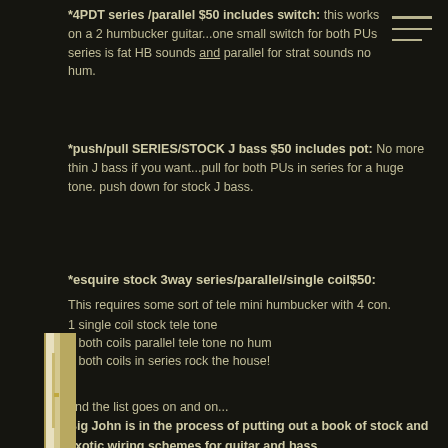*4PDT series /parallel $50 includes switch: this works on a 2 humbucker guitar...one small switch for both PUs series is fat HB sounds and parallel for strat sounds no hum.
*push/pull SERIES/STOCK J bass $50 includes pot: No more thin J bass if you want...pull for both PUs in series for a huge tone. push down for stock J bass.
*esquire stock 3way series/parallel/single coil$50:
This requires some sort of tele mini humbucker with 4 con.
1 single coil stock tele tone
2 both coils parallel tele tone no hum
3 both coils in series rock the house!
and the list goes on and on...
Big John is in the process of putting out a book of stock and exotic wiring schemes for guitar and bass.
[Figure (photo): Partial view of a book or printed document page visible at the bottom left corner of the image, showing the edge/spine of pages with cream/tan coloring against a dark background.]